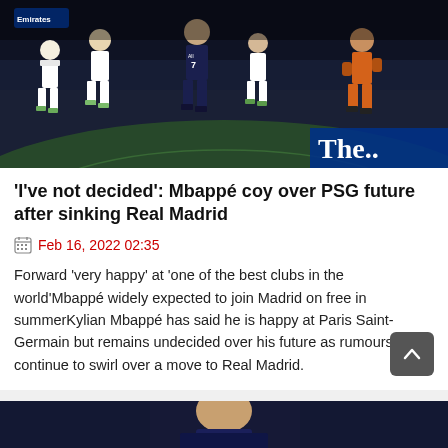[Figure (photo): Action shot of a football match between Real Madrid (white kits) and PSG (dark navy kits). A PSG player wearing number 7 (Mbappé) is prominent in the center, with Real Madrid players and PSG goalkeeper in orange kit visible. 'The Guardian' watermark in bottom-right corner.]
'I've not decided': Mbappé coy over PSG future after sinking Real Madrid
Feb 16, 2022 02:35
Forward 'very happy' at 'one of the best clubs in the world'Mbappé widely expected to join Madrid on free in summerKylian Mbappé has said he is happy at Paris Saint-Germain but remains undecided over his future as rumours continue to swirl over a move to Real Madrid.
[Figure (photo): Close-up photo of a footballer in a dark blue PSG kit, head and shoulders visible, looking forward.]